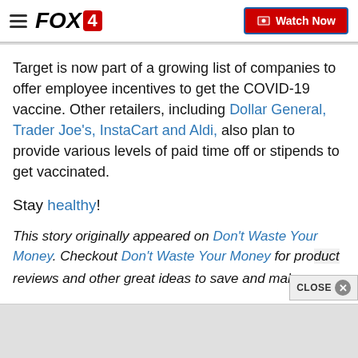FOX4 | Watch Now
Target is now part of a growing list of companies to offer employee incentives to get the COVID-19 vaccine. Other retailers, including Dollar General, Trader Joe's, InstaCart and Aldi, also plan to provide various levels of paid time off or stipends to get vaccinated.
Stay healthy!
This story originally appeared on Don't Waste Your Money. Checkout Don't Waste Your Money for product reviews and other great ideas to save and make m...